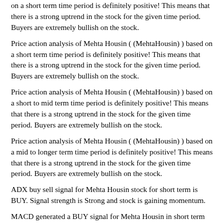on a short term time period is definitely positive! This means that there is a strong uptrend in the stock for the given time period. Buyers are extremely bullish on the stock.
Price action analysis of Mehta Housin ( (MehtaHousin) ) based on a short term time period is definitely positive! This means that there is a strong uptrend in the stock for the given time period. Buyers are extremely bullish on the stock.
Price action analysis of Mehta Housin ( (MehtaHousin) ) based on a short to mid term time period is definitely positive! This means that there is a strong uptrend in the stock for the given time period. Buyers are extremely bullish on the stock.
Price action analysis of Mehta Housin ( (MehtaHousin) ) based on a mid to longer term time period is definitely positive! This means that there is a strong uptrend in the stock for the given time period. Buyers are extremely bullish on the stock.
ADX buy sell signal for Mehta Housin stock for short term is BUY. Signal strength is Strong and stock is gaining momentum.
MACD generated a BUY signal for Mehta Housin in short term and the buy signal is strong.
MACD line is moving upwards which means that SELL signal is weakening, and buying is picking up momentum.